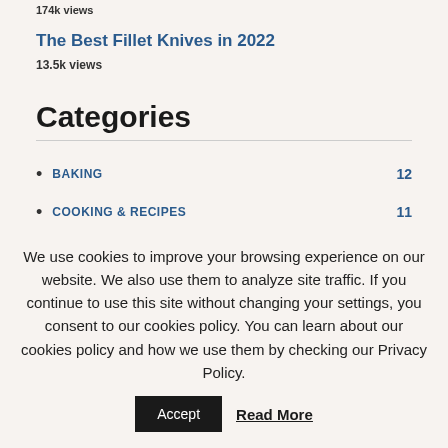174k views
The Best Fillet Knives in 2022
13.5k views
Categories
BAKING 12
COOKING & RECIPES 11
COOKWARE 21
We use cookies to improve your browsing experience on our website. We also use them to analyze site traffic. If you continue to use this site without changing your settings, you consent to our cookies policy. You can learn about our cookies policy and how we use them by checking our Privacy Policy.
Accept
Read More